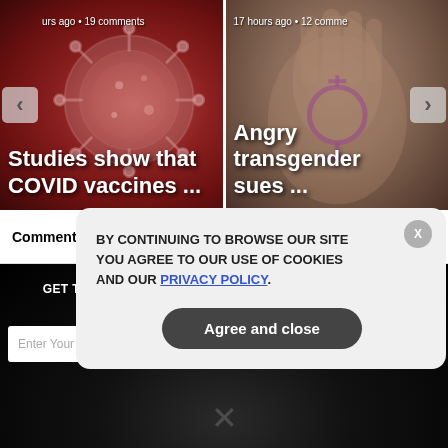[Figure (screenshot): Article card with COVID virus image and headline 'Studies show that COVID vaccines ...' with timestamp '... hours ago • 19 comments']
[Figure (screenshot): Article card with hand showing transgender symbol and headline 'Angry transgender sues ...' with timestamp '17 hours ago • 12 comments']
Comments  Community  Privacy Policy  1  Login
GET THE WORLD'S BEST NATURAL HEALTH NEWSLETTER DELIVERED STRAIGHT TO YOUR INBOX
Enter Your Email Address
SUBSCRIBE
BY CONTINUING TO BROWSE OUR SITE YOU AGREE TO OUR USE OF COOKIES AND OUR PRIVACY POLICY.
Agree and close